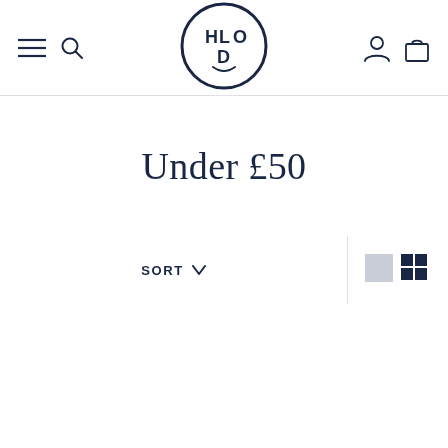[Figure (logo): HLOD brand logo in a circle, dark navy text on white background]
Under £50
SORT ∨
[Figure (other): View toggle icons: single large grid and 4-grid view buttons in dark navy]